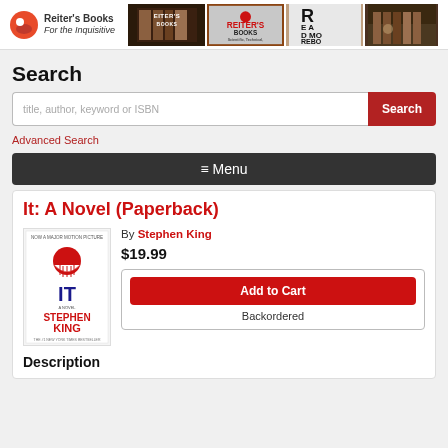Reiter's Books
For the Inquisitive
Search
title, author, keyword or ISBN
Advanced Search
≡ Menu
It: A Novel (Paperback)
By Stephen King
$19.99
Add to Cart
Backordered
Description